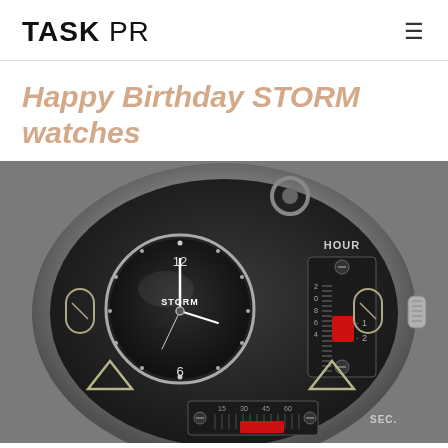TASK PR
Happy Birthday STORM watches
[Figure (photo): Close-up photo of a STORM watch face showing an analog clock sub-dial with 12 and 6 numerals and STORM branding, plus digital-style HOUR and SEC. indicators with red sliding markers, set against a dark dial with silver case and crown.]